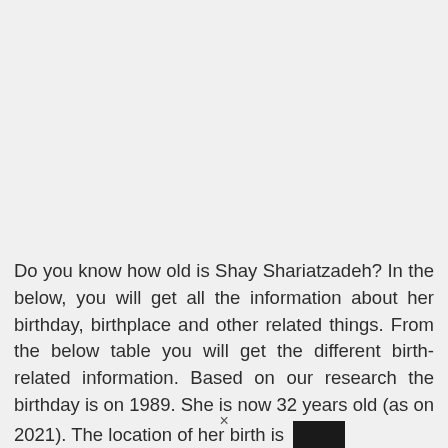Do you know how old is Shay Shariatzadeh? In the below, you will get all the information about her birthday, birthplace and other related things. From the below table you will get the different birth-related information. Based on our research the birthday is on 1989. She is now 32 years old (as on 2021). The location of her birth is [REDACTED]